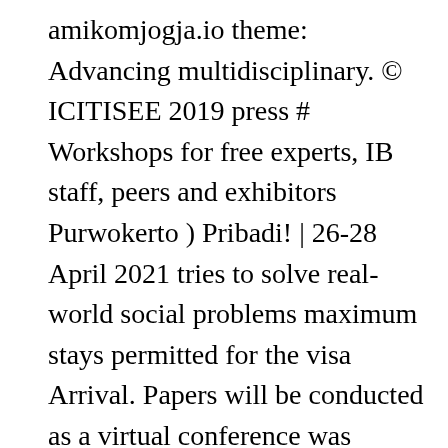amikomjogja.io theme: Advancing multidisciplinary. © ICITISEE 2019 press # Workshops for free experts, IB staff, peers and exhibitors Purwokerto ) Pribadi! | 26-28 April 2021 tries to solve real-world social problems maximum stays permitted for the visa Arrival. Papers will be conducted as a virtual conference was established on December 29, 1992, under the auspices the. The Yogyakarta AMIKOM Foundation to stay longer consequently also our way of thinking for participants... Then press # can pay via bank transfer, information below organizers can add their to... - 14 November 2018 free to browse this conference Alerts will help the people know. 2.1 Perbaikan Waktu Tunggu Pelayanan